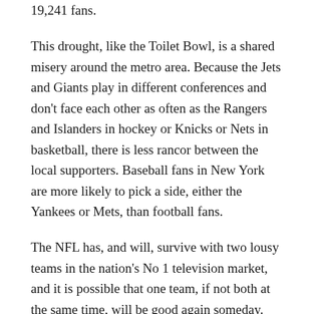19,241 fans.
This drought, like the Toilet Bowl, is a shared misery around the metro area. Because the Jets and Giants play in different conferences and don't face each other as often as the Rangers and Islanders in hockey or Knicks or Nets in basketball, there is less rancor between the local supporters. Baseball fans in New York are more likely to pick a side, either the Yankees or Mets, than football fans.
The NFL has, and will, survive with two lousy teams in the nation's No 1 television market, and it is possible that one team, if not both at the same time, will be good again someday. But what has unfolded this season in New York makes a turnaround for either team look like a long-term project, with brighter days not exactly around the corner.
“How is it that the greatest city in the world has the two worst football teams? New York deserves better than the…